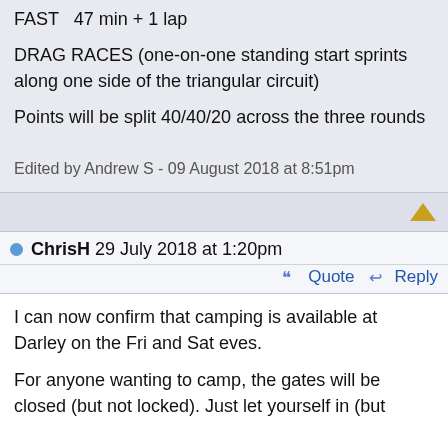FAST   47 min + 1 lap
DRAG RACES (one-on-one standing start sprints along one side of the triangular circuit)
Points will be split 40/40/20 across the three rounds
Edited by Andrew S - 09 August 2018 at 8:51pm
ChrisH 29 July 2018 at 1:20pm
Quote   Reply
I can now confirm that camping is available at Darley on the Fri and Sat eves.
For anyone wanting to camp, the gates will be closed (but not locked). Just let yourself in (but